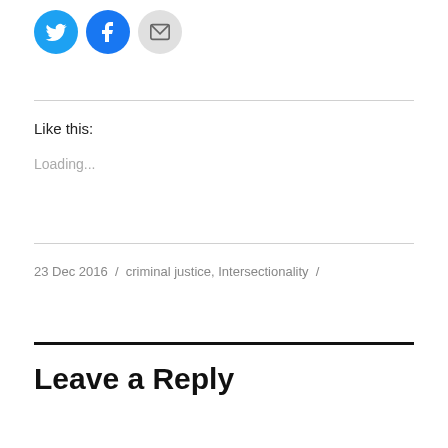[Figure (other): Social sharing icons: Twitter (blue circle), Facebook (blue circle), Email (gray circle)]
Like this:
Loading...
23 Dec 2016 / criminal justice, Intersectionality /
Leave a Reply